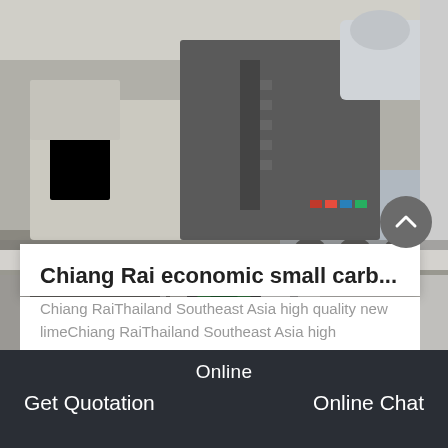[Figure (photo): Industrial mobile crusher/screening machine mounted on a truck trailer inside a factory or warehouse. Large heavy machinery with visible conveyor belts and structural steel framework.]
Chiang Rai economic small carb...
Chiang RaiThailand Southeast Asia high quality new limeChiang RaiThailand Southeast Asia high
GET PRICE
[Figure (photo): Industrial machinery inside a factory hall — appears to show a large electric motor or crusher unit with green casing, photographed from below looking up at the ceiling.]
Online
Get Quotation
Online Chat